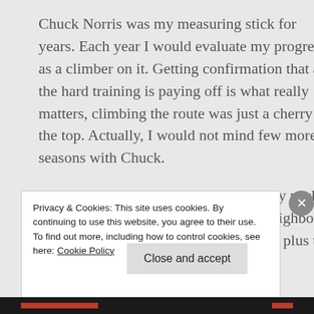Chuck Norris was my measuring stick for years. Each year I would evaluate my progress as a climber on it. Getting confirmation that all the hard training is paying off is what really matters, climbing the route was just a cherry on the top. Actually, I would not mind few more seasons with Chuck.
So, how hard it really is? I will stick my neck out and say 8b+. It is harder than its neighbour Kill Bill by a good margin, so adding a plus to Bill's grade seems
Privacy & Cookies: This site uses cookies. By continuing to use this website, you agree to their use.
To find out more, including how to control cookies, see here: Cookie Policy